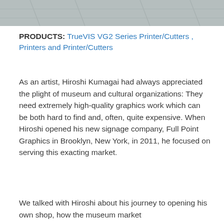[Figure (photo): Top portion of a photo showing a gray tiled or concrete surface, partially cropped at the top of the page.]
PRODUCTS: TrueVIS VG2 Series Printer/Cutters , Printers and Printer/Cutters
As an artist, Hiroshi Kumagai had always appreciated the plight of museum and cultural organizations: They need extremely high-quality graphics work which can be both hard to find and, often, quite expensive. When Hiroshi opened his new signage company, Full Point Graphics in Brooklyn, New York, in 2011, he focused on serving this exacting market.
We talked with Hiroshi about his journey to opening his own shop, how the museum market